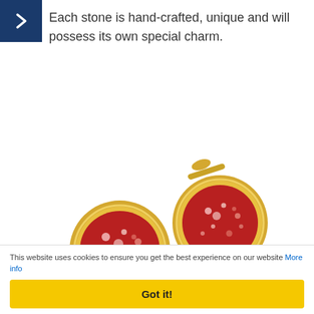[Figure (other): Dark blue square navigation arrow button in the top-left corner with a white right-pointing chevron/arrow icon]
Each stone is hand-crafted, unique and will possess its own special charm.
[Figure (photo): Two gold cufflinks with red/ruby crystalline stone centers, shown on white background. One cufflink faces forward and the other is angled showing the toggle fastener.]
This website uses cookies to ensure you get the best experience on our website More info
Got it!